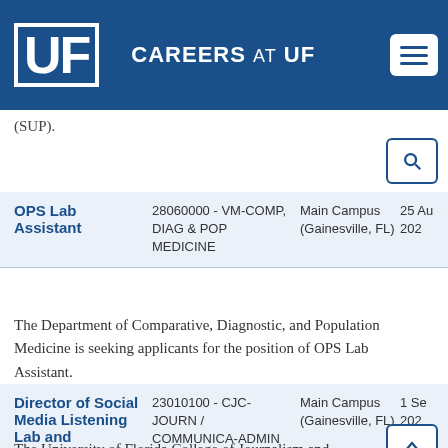CAREERS AT UF
(SUP).
| Job Title | Department | Location | Date |
| --- | --- | --- | --- |
| OPS Lab Assistant | 28060000 - VM-COMP, DIAG & POP MEDICINE | Main Campus (Gainesville, FL) | 25 Au 202 |
| Director of Social Media Listening Lab and Engagement | 23010100 - CJC-JOURN / COMMUNICA-ADMIN | Main Campus (Gainesville, FL) | 1 Se 202 |
The Department of Comparative, Diagnostic, and Population Medicine is seeking applicants for the position of OPS Lab Assistant.
The University of Florida College of Journalism and